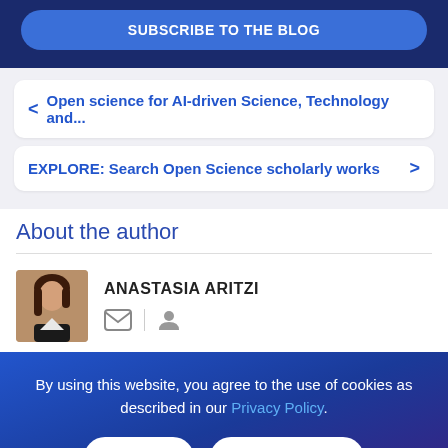SUBSCRIBE TO THE BLOG
< Open science for AI-driven Science, Technology and...
EXPLORE: Search Open Science scholarly works >
About the author
[Figure (photo): Portrait photo of Anastasia Aritzi]
ANASTASIA ARITZI
By using this website, you agree to the use of cookies as described in our Privacy Policy.
Ok
No, Thanks